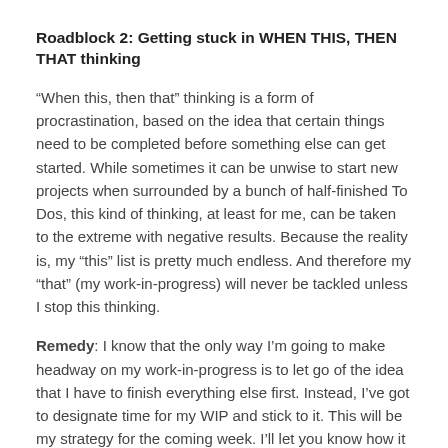Roadblock 2: Getting stuck in WHEN THIS, THEN THAT thinking
“When this, then that” thinking is a form of procrastination, based on the idea that certain things need to be completed before something else can get started. While sometimes it can be unwise to start new projects when surrounded by a bunch of half-finished To Dos, this kind of thinking, at least for me, can be taken to the extreme with negative results. Because the reality is, my “this” list is pretty much endless. And therefore my “that” (my work-in-progress) will never be tackled unless I stop this thinking.
Remedy: I know that the only way I’m going to make headway on my work-in-progress is to let go of the idea that I have to finish everything else first. Instead, I’ve got to designate time for my WIP and stick to it. This will be my strategy for the coming week. I’ll let you know how it